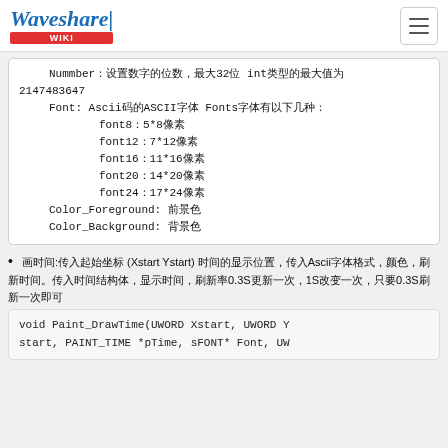Waveshare WIKI
Nummber：设置数字的位数，最大32位 int类型的最大值为2147483647
Font: Ascii码的ASCII字体 Fonts字体有以下几种：
font8：5*8像素
font12：7*12像素
font16：11*16像素
font20：14*20像素
font24：17*24像素
Color_Foreground: 前景色
Color_Background: 背景色
画时间:传入起始坐标 (Xstart Ystart) 时间的显示位置，传入Ascii字体格式，颜色，刷新时间。传入时间结构体，显示时间，刷新率0.3S更新一次，1S改变一次，只要0.3S刷新一次即可
void Paint_DrawTime(UWORD Xstart, UWORD Ystart, PAINT_TIME *pTime, sFONT* Font, UW